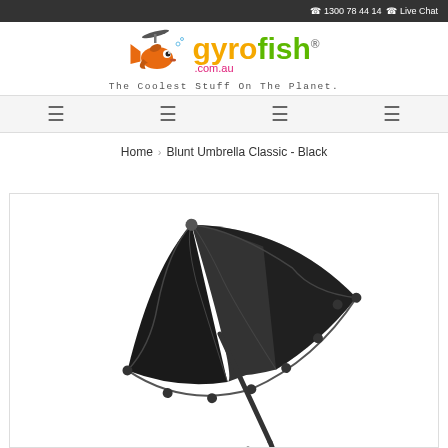☎ 1300 78 44 14 ☎ Live Chat
[Figure (logo): Gyrofish.com.au logo with cartoon fish and tagline 'The Coolest Stuff On The Planet.']
Navigation menu with 4 icon items
Home › Blunt Umbrella Classic - Black
[Figure (photo): Black Blunt Umbrella Classic shown open and tilted, photographed from the side against a white background]